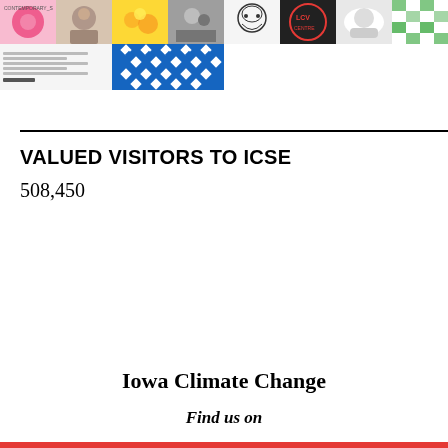[Figure (illustration): Grid of thumbnail images including flowers, portrait, texture, group photo, illustration, logo, dog, pattern, screenshot, and blue geometric pattern]
VALUED VISITORS TO ICSE
508,450
Iowa Climate Change
Find us on